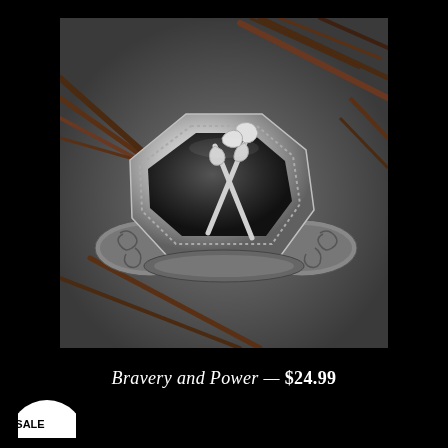[Figure (photo): A silver signet ring with two crossed axes engraved on an octagonal face, decorated with scroll work on the band, resting on dark grey surface among dry twigs and branches.]
Bravery and Power — $24.99
[Figure (other): Partial circular sale badge in bottom-left corner, white circle with text 'SALE']